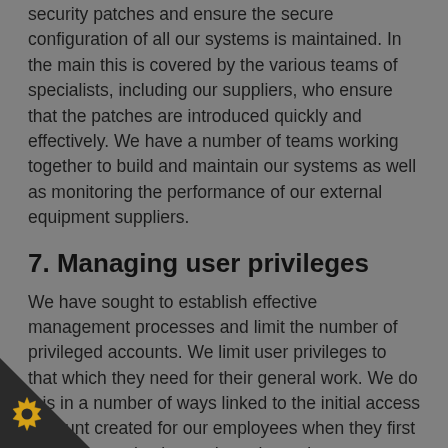security patches and ensure the secure configuration of all our systems is maintained. In the main this is covered by the various teams of specialists, including our suppliers, who ensure that the patches are introduced quickly and effectively. We have a number of teams working together to build and maintain our systems as well as monitoring the performance of our external equipment suppliers.
7. Managing user privileges
We have sought to establish effective management processes and limit the number of privileged accounts. We limit user privileges to that which they need for their general work. We do this in a number of ways linked to the initial access account created for our employees when they first join the organisation and regular reviews.
8. Monitoring
Collaborative working agreements with our range of suppliers and our own internal SOC keep a constant eye on the activities of the 26,000 staff and external stakeholders. A monitoring strategy exists to supporting policies and